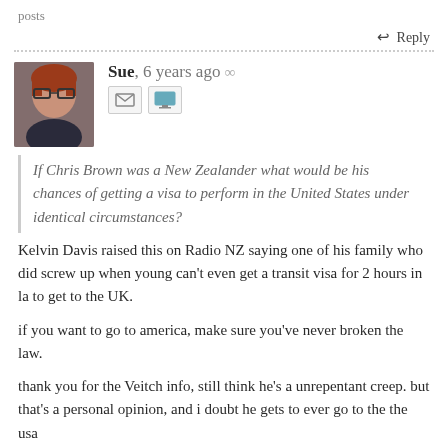posts
↩ Reply
Sue, 6 years ago ∞
[Figure (photo): Profile photo of Sue, a woman with red hair and glasses]
If Chris Brown was a New Zealander what would be his chances of getting a visa to perform in the United States under identical circumstances?
Kelvin Davis raised this on Radio NZ saying one of his family who did screw up when young can't even get a transit visa for 2 hours in la to get to the UK.

if you want to go to america, make sure you've never broken the law.

thank you for the Veitch info, still think he's a unrepentant creep. but that's a personal opinion, and i doubt he gets to ever go to the the usa
Wellington • Since Nov 2006 • 527 posts
↩ Reply
Sofie Bribiesca, in reply to Russell